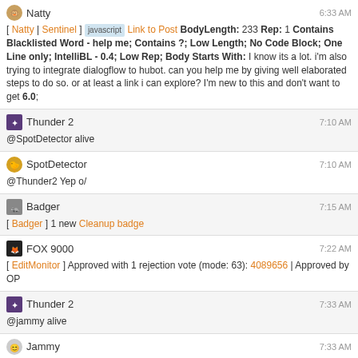Natty 6:33 AM [ Natty | Sentinel ] javascript Link to Post BodyLength: 233 Rep: 1 Contains Blacklisted Word - help me; Contains ?; Low Length; No Code Block; One Line only; IntelliBL - 0.4; Low Rep; Body Starts With: I know its a lot. i'm also trying to integrate dialogflow to hubot. can you help me by giving well elaborated steps to do so. or at least a link i can explore? I'm new to this and don't want to get 6.0;
Thunder 2 7:10 AM @SpotDetector alive
SpotDetector 7:10 AM @Thunder2 Yep o/
Badger 7:15 AM [ Badger ] 1 new Cleanup badge
FOX 9000 7:22 AM [ EditMonitor ] Approved with 1 rejection vote (mode: 63): 4089656 | Approved by OP
Thunder 2 7:33 AM @jammy alive
Jammy 7:33 AM Heroku reporting for duty.
Natty 7:34 AM [ Natty | Sentinel ] c# Link to Post BodyLength: 37 Rep: 1 Ends with ?; Low Length; No Code Block; One Line only; Low Rep; Body Starts With: Did you ever find a solution to this? 5.5;